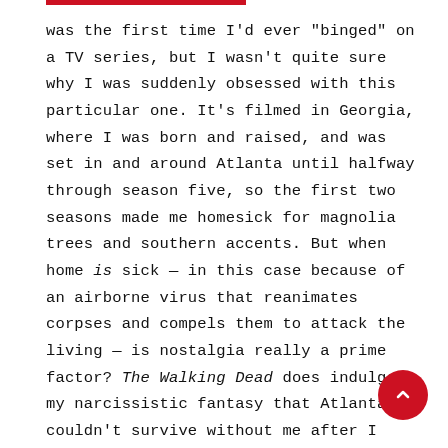was the first time I'd ever "binged" on a TV series, but I wasn't quite sure why I was suddenly obsessed with this particular one. It's filmed in Georgia, where I was born and raised, and was set in and around Atlanta until halfway through season five, so the first two seasons made me homesick for magnolia trees and southern accents. But when home is sick — in this case because of an airborne virus that reanimates corpses and compels them to attack the living — is nostalgia really a prime factor? The Walking Dead does indulge my narcissistic fantasy that Atlanta couldn't survive without me after I moved to Chicago in 2003, but it also proves Thomas Wolfe was right — you can't go home again, mainly because air travel no longer exists and I-75 is now backed up with more brain-dead drivers than ever before.